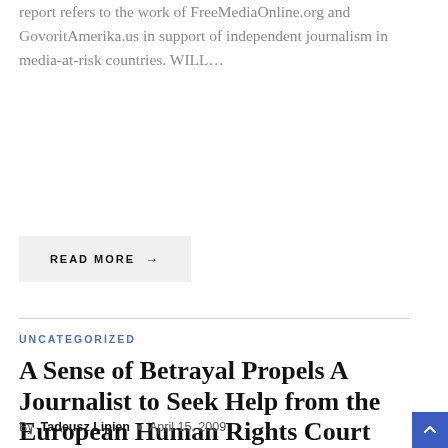report refers to the work of FreeMediaOnline.org and GovoritAmerika.us in support of independent journalism in media-at-risk countries. WILL…
READ MORE →
UNCATEGORIZED
A Sense of Betrayal Propels A Journalist to Seek Help from the European Human Rights Court Against the U.S. Broadcasting Board of Governors
By Tadeusz Lipien • April 15, 2009